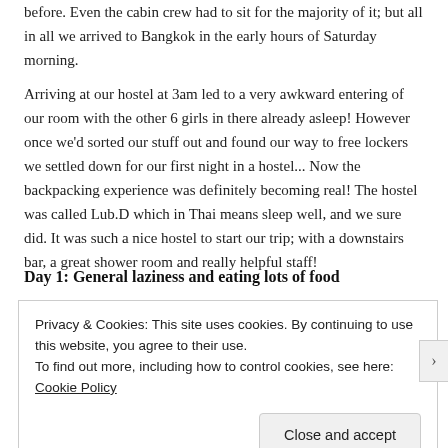before. Even the cabin crew had to sit for the majority of it; but all in all we arrived to Bangkok in the early hours of Saturday morning.
Arriving at our hostel at 3am led to a very awkward entering of our room with the other 6 girls in there already asleep! However once we'd sorted our stuff out and found our way to free lockers we settled down for our first night in a hostel... Now the backpacking experience was definitely becoming real! The hostel was called Lub.D which in Thai means sleep well, and we sure did. It was such a nice hostel to start our trip; with a downstairs bar, a great shower room and really helpful staff!
Day 1: General laziness and eating lots of food
Privacy & Cookies: This site uses cookies. By continuing to use this website, you agree to their use.
To find out more, including how to control cookies, see here: Cookie Policy
Close and accept